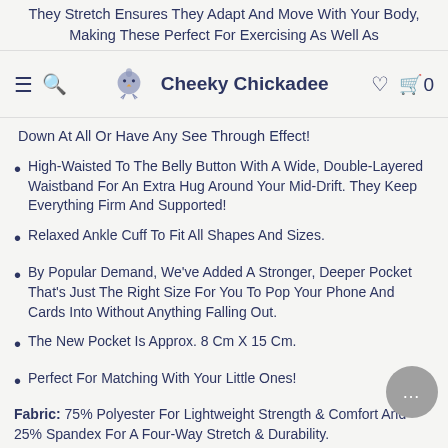They Stretch Ensures They Adapt And Move With Your Body, Making These Perfect For Exercising As Well As
Cheeky Chickadee
Down At All Or Have Any See Through Effect!
High-Waisted To The Belly Button With A Wide, Double-Layered Waistband For An Extra Hug Around Your Mid-Drift. They Keep Everything Firm And Supported!
Relaxed Ankle Cuff To Fit All Shapes And Sizes.
By Popular Demand, We've Added A Stronger, Deeper Pocket That's Just The Right Size For You To Pop Your Phone And Cards Into Without Anything Falling Out.
The New Pocket Is Approx. 8 Cm X 15 Cm.
Perfect For Matching With Your Little Ones!
Fabric: 75% Polyester For Lightweight Strength & Comfort And 25% Spandex For A Four-Way Stretch & Durability.